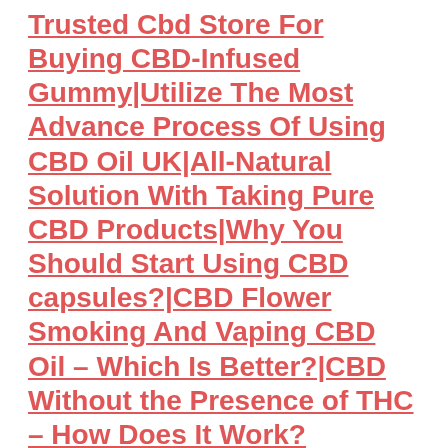Trusted Cbd Store For Buying CBD-Infused Gummy|Utilize The Most Advance Process Of Using CBD Oil UK|All-Natural Solution With Taking Pure CBD Products|Why You Should Start Using CBD capsules?|CBD Flower Smoking And Vaping CBD Oil – Which Is Better?|CBD Without the Presence of THC – How Does It Work?|Scientific And Historical Facts About CBD Oil |Look Like 18 Till You Die: Top 7 Practices Which Can Assure Beautiful And Healthy Skin|Golden Facts One Should Know About CBD Skincare|Different Types of CBD Oil – Get to Know All About It|How To Find The Right CBD Dosage And Manage CBD Intake|Select The Right Cbd Pain Relief Cream With These Tips!|Buy Premium CBD Products Online For Your Compete Well-Being|Will Vegan CBD Gummies help me with sleep?|CBD Tinctures – All the You Need to Know About It|Treat Your Bacterial